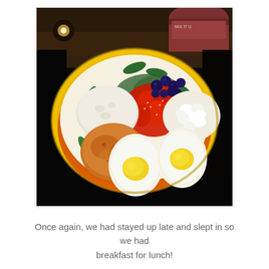[Figure (photo): A colorful plate with food including a toasted English muffin, hard-boiled eggs cut in half showing yellow yolks, cottage cheese, strawberries, blueberries, and spinach leaves on a yellow and red decorative plate. Background shows dark countertop and a jar or container.]
Once again, we had stayed up late and slept in so we had breakfast for lunch!